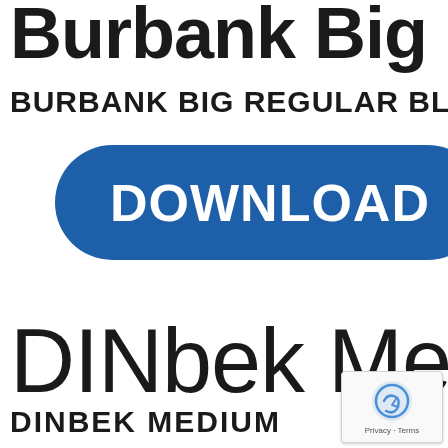Burbank Big Regular Bla…
BURBANK BIG REGULAR BLA…
[Figure (other): Blue rounded download button with white text reading DOWNLOAD]
DINbek Med…
DINBEK MEDIUM
[Figure (other): Google reCAPTCHA badge with privacy and terms links]